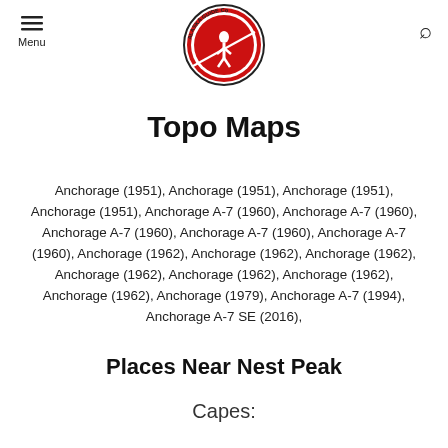[Figure (logo): Alaska Guide Co Wilderness Adventures circular logo with red background and hiker silhouette]
Topo Maps
Anchorage (1951), Anchorage (1951), Anchorage (1951), Anchorage (1951), Anchorage A-7 (1960), Anchorage A-7 (1960), Anchorage A-7 (1960), Anchorage A-7 (1960), Anchorage A-7 (1960), Anchorage (1962), Anchorage (1962), Anchorage (1962), Anchorage (1962), Anchorage (1962), Anchorage (1962), Anchorage (1962), Anchorage (1979), Anchorage A-7 (1994), Anchorage A-7 SE (2016),
Places Near Nest Peak
Capes: